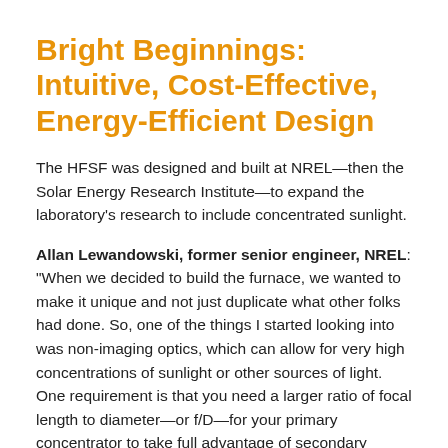Bright Beginnings: Intuitive, Cost-Effective, Energy-Efficient Design
The HFSF was designed and built at NREL—then the Solar Energy Research Institute—to expand the laboratory's research to include concentrated sunlight.
Allan Lewandowski, former senior engineer, NREL: "When we decided to build the furnace, we wanted to make it unique and not just duplicate what other folks had done. So, one of the things I started looking into was non-imaging optics, which can allow for very high concentrations of sunlight or other sources of light. One requirement is that you need a larger ratio of focal length to diameter—or f/D—for your primary concentrator to take full advantage of secondary